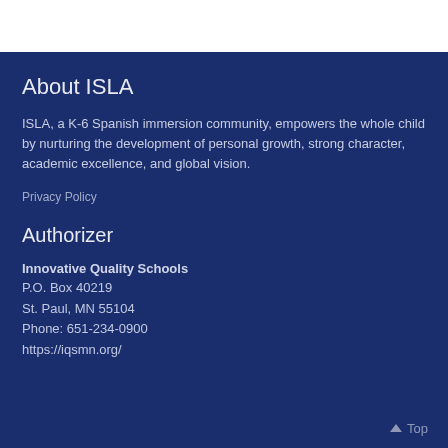About ISLA
ISLA, a K-6 Spanish immersion community, empowers the whole child by nurturing the development of personal growth, strong character, academic excellence, and global vision.
Privacy Policy
Authorizer
Innovative Quality Schools
P.O. Box 40219
St. Paul, MN 55104
Phone: 651-234-0900
https://iqsmn.org/
Top